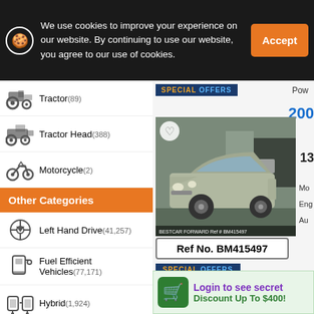We use cookies to improve your experience on our website. By continuing to use our website, you agree to our use of cookies.
Accept
Tractor(89)
Tractor Head(388)
Motorcycle(2)
Other Categories
Left Hand Drive(41,257)
Fuel Efficient Vehicles(77,171)
Hybrid(1,924)
Electric(292)
Diesel(55,686)
Manual
[Figure (photo): Silver Toyota Corolla sedan parked in a lot, front 3/4 view]
Ref No. BM415497
SPECIAL OFFERS
Pow
Login to see secret Discount Up To $400!